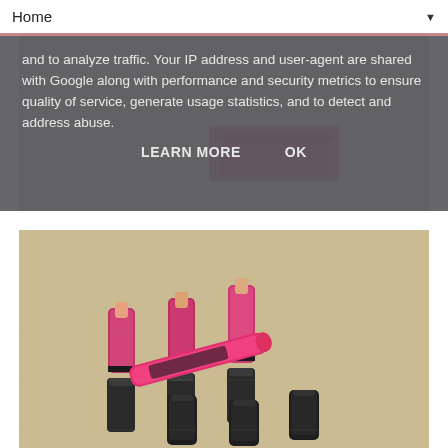Home ▼
and to analyze traffic. Your IP address and user-agent are shared with Google along with performance and security metrics to ensure quality of service, generate usage statistics, and to detect and address abuse.
LEARN MORE    OK
[Figure (photo): Partially visible photo of a pink/red cosmetic box on a beige carpet background]
[Figure (photo): Photo of multiple lipsticks — pink/magenta metallic tubes open showing nude bullets, dark matte black tubes, and a pink lip gloss/liquid lipstick with decorative label, arranged on a beige carpet]